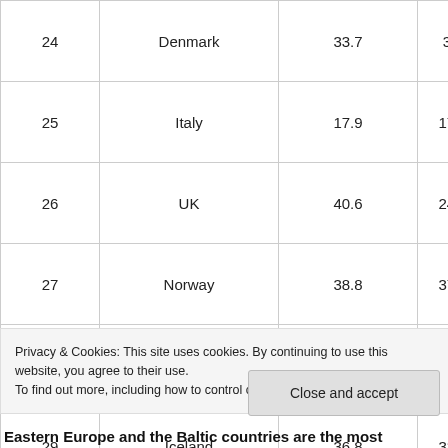| # | Country | Value1 | Value2 |
| --- | --- | --- | --- |
| 24 | Denmark | 33.7 | 39… |
| 25 | Italy | 17.9 | 175… |
| 26 | UK | 40.6 | 245… |
| 27 | Norway | 38.8 | 379… |
| 28 | France | 35.3 | 279… |
| 29 | Iceland | 36.8 | 322… |
Privacy & Cookies: This site uses cookies. By continuing to use this website, you agree to their use. To find out more, including how to control cookies, see here: Cookie Policy
Close and accept
Eastern Europe and the Baltic countries are the most